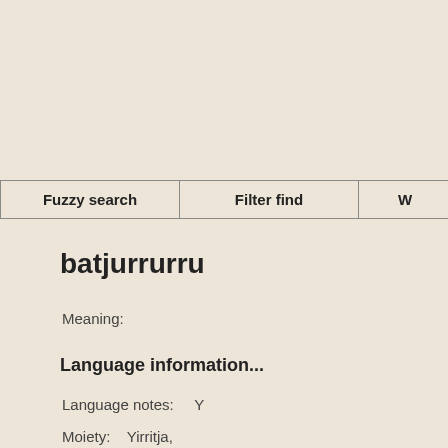| Fuzzy search | Filter find | W... |
| --- | --- | --- |
batjurrurru
Meaning:
Language information...
Language notes:     Y
Moiety:     Yirritja,
Always capitalise?     Yes